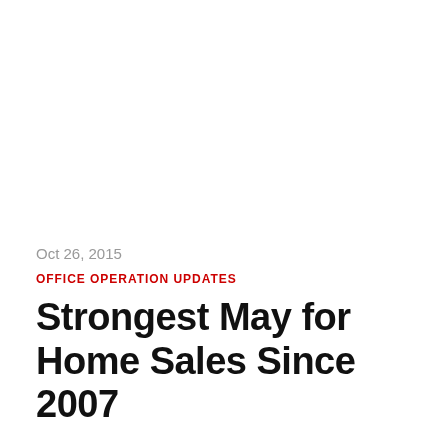Oct 26, 2015
OFFICE OPERATION UPDATES
Strongest May for Home Sales Since 2007
Vancouver, BC – June 13, 2014.  The British Columbia Real Estate Association (BCREA) reports that a total of 8,729 residential sales were recorded by the Multiple